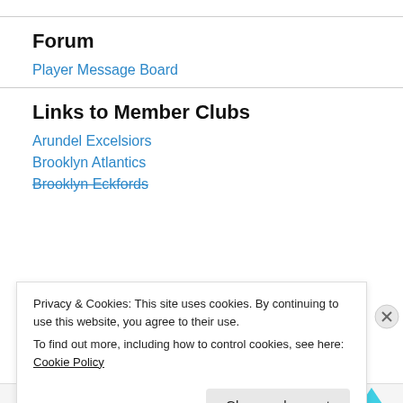Forum
Player Message Board
Links to Member Clubs
Arundel Excelsiors
Brooklyn Atlantics
Brooklyn Eckfords
Privacy & Cookies: This site uses cookies. By continuing to use this website, you agree to their use.
To find out more, including how to control cookies, see here: Cookie Policy
Close and accept